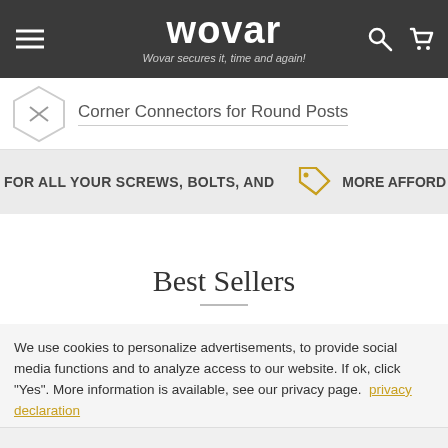wovar — Wovar secures it, time and again!
Corner Connectors for Round Posts
FOR ALL YOUR SCREWS, BOLTS, AND   MORE AFFORD
Best Sellers
We use cookies to personalize advertisements, to provide social media functions and to analyze access to our website. If ok, click "Yes". More information is available, see our privacy page.  privacy declaration
Agree